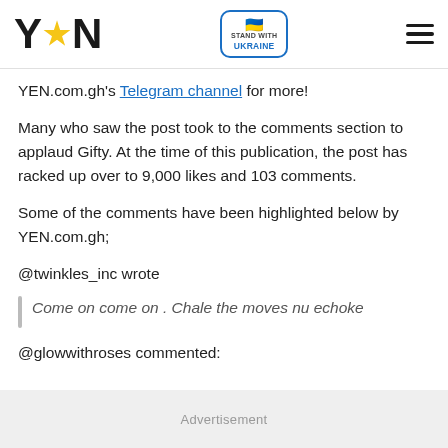YEN ★ EN | STAND WITH UKRAINE
YEN.com.gh's Telegram channel for more!
Many who saw the post took to the comments section to applaud Gifty. At the time of this publication, the post has racked up over to 9,000 likes and 103 comments.
Some of the comments have been highlighted below by YEN.com.gh;
@twinkles_inc wrote
Come on come on . Chale the moves nu echoke
@glowwithroses commented:
Advertisement